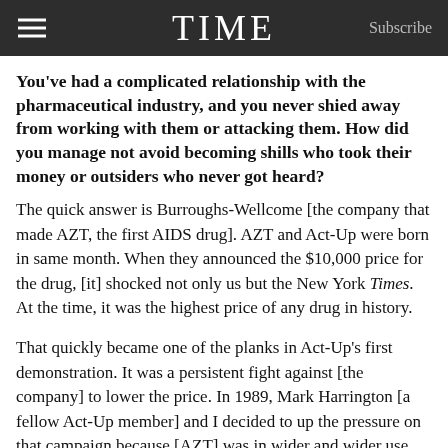TIME  Subscribe
You've had a complicated relationship with the pharmaceutical industry, and you never shied away from working with them or attacking them. How did you manage not avoid becoming shills who took their money or outsiders who never got heard?
The quick answer is Burroughs-Wellcome [the company that made AZT, the first AIDS drug]. AZT and Act-Up were born in same month. When they announced the $10,000 price for the drug, [it] shocked not only us but the New York Times. At the time, it was the highest price of any drug in history.
That quickly became one of the planks in Act-Up's first demonstration. It was a persistent fight against [the company] to lower the price. In 1989, Mark Harrington [a fellow Act-Up member] and I decided to up the pressure on that campaign because [AZT] was in wider and wider use. So we requested a